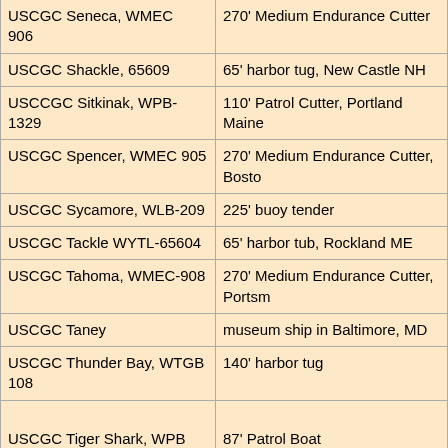| Vessel | Description |
| --- | --- |
| USCGC Seneca, WMEC 906 | 270' Medium Endurance Cutter |
| USCGC Shackle, 65609 | 65' harbor tug, New Castle NH |
| USCCGC Sitkinak, WPB-1329 | 110' Patrol Cutter, Portland Maine |
| USCGC Spencer, WMEC 905 | 270' Medium Endurance Cutter, Boston |
| USCGC Sycamore, WLB-209 | 225' buoy tender |
| USCGC Tackle WYTL-65604 | 65' harbor tub, Rockland ME |
| USCGC Tahoma, WMEC-908 | 270' Medium Endurance Cutter, Portsmouth |
| USCGC Taney | museum ship in Baltimore, MD |
| USCGC Thunder Bay, WTGB 108 | 140' harbor tug |
| USCGC Tiger Shark, WPB 87359 | 87' Patrol Boat |
| USCGC Towline, WYTL-65605 | 65' harbor tug, decommissioned in 199 |